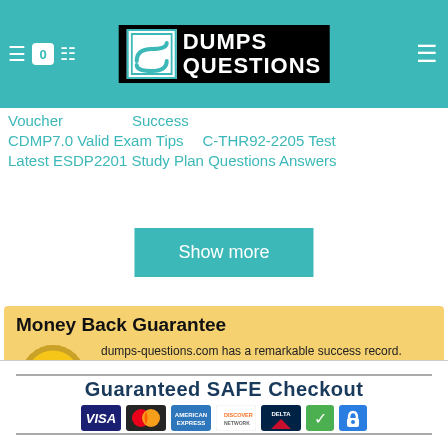[Figure (logo): DumpsQuestions logo with stylized S icon on black background, site header with teal background]
Voucher
Success
CDMP7.0 Valid Exam Tips	C-THR92-2205 Test
Latest ESDP2201 Study Plan Questions Answers
Show more
Money Back Guarantee
dumps-questions.com has a remarkable success record. We're confident of our products and provide a no hassle money back guarantee.
How the guarantee works?
[Figure (infographic): Guaranteed SAFE Checkout banner with payment method icons: VISA, Mastercard, American Express, Discover, Delta, checkmark, lock]
Guaranteed SAFE Checkout